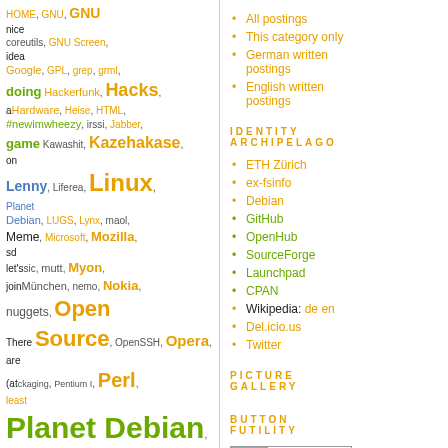[Figure (other): Tag cloud with various Linux/Debian related tags in different sizes and colors (orange, green, blue, gray)]
All postings
This category only
German written postings
English written postings
IDENTITY ARCHIPELAGO
ETH Zürich
ex-fsinfo
Debian
GitHub
OpenHub
SourceForge
Launchpad
CPAN
Wikipedia: de en
Del.icio.us
Twitter
PICTURE GALLERY
BUTTON FUTILITY
[Figure (other): Valid XHTML button badge]
[Figure (other): Valid CSS button badge]